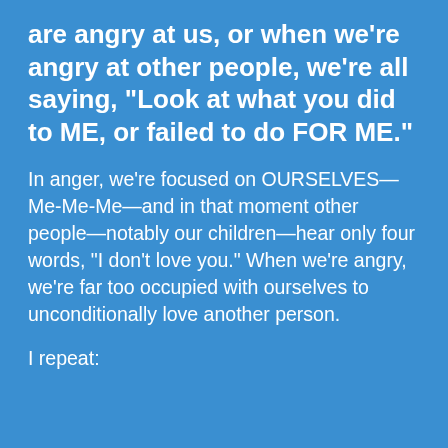are angry at us, or when we're angry at other people, we're all saying, “Look at what you did to ME, or failed to do FOR ME.”
In anger, we're focused on OURSELVES—Me-Me-Me—and in that moment other people—notably our children—hear only four words, “I don’t love you.” When we’re angry, we’re far too occupied with ourselves to unconditionally love another person.
I repeat: